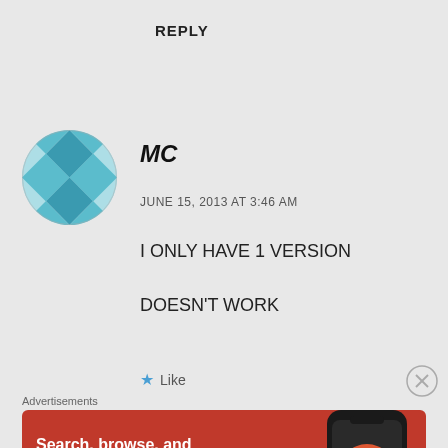REPLY
[Figure (illustration): Teal and white geometric avatar icon with diamond/checkerboard pattern in a circle]
MC
JUNE 15, 2013 AT 3:46 AM
I ONLY HAVE 1 VERSION

DOESN'T WORK
Like
Advertisements
[Figure (screenshot): DuckDuckGo advertisement banner: orange/red background with text 'Search, browse, and email with more privacy. All in One Free App' and phone mockup with DuckDuckGo logo]